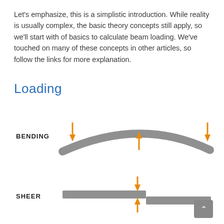Let's emphasize, this is a simplistic introduction. While reality is usually complex, the basic theory concepts still apply, so we'll start with of basics to calculate beam loading. We've touched on many of these concepts in other articles, so follow the links for more explanation.
Loading
[Figure (engineering-diagram): Bending diagram: a curved beam (arc shape, bowing upward) shown in gray with orange arrows. Two downward arrows at the left and right ends, and one upward arrow in the center, labeled BENDING.]
[Figure (engineering-diagram): Shear diagram: two horizontal gray rectangular bars offset vertically at the center, with an orange downward arrow above and an upward arrow below the offset point, labeled SHEER.]